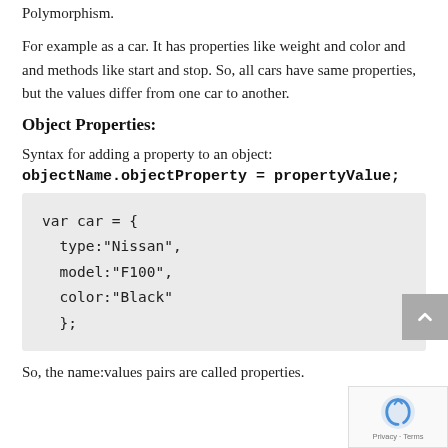Polymorphism.
For example as a car. It has properties like weight and color and and methods like start and stop. So, all cars have same properties, but the values differ from one car to another.
Object Properties:
Syntax for adding a property to an object:
objectName.objectProperty = propertyValue;
[Figure (screenshot): Code block showing a JavaScript object literal: var car = { type:"Nissan", model:"F100", color:"Black" };]
So, the name:values pairs are called properties.